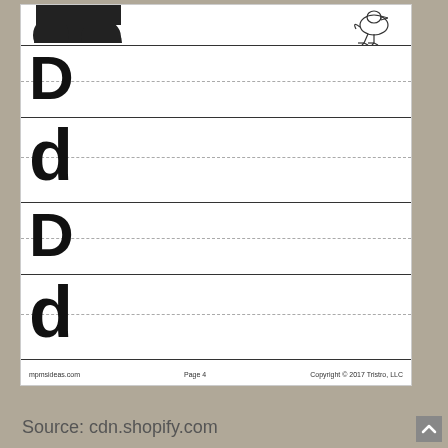[Figure (illustration): Partial view of a dog image (top cropped) on left, and a duck line drawing on right, at the top of a handwriting practice worksheet]
[Figure (illustration): Handwriting practice worksheet showing uppercase D and lowercase d letter guides with solid and dashed lines for tracing]
mpmsideas.com    Page 4    Copyright © 2017 Tristro, LLC
Source: cdn.shopify.com